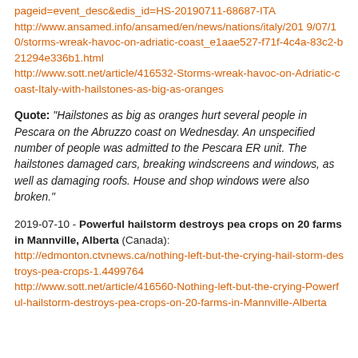pageid=event_desc&edis_id=HS-20190711-68687-ITA
http://www.ansamed.info/ansamed/en/news/nations/italy/2019/07/10/storms-wreak-havoc-on-adriatic-coast_e1aae527-f71f-4c4a-83c2-b21294e336b1.html
http://www.sott.net/article/416532-Storms-wreak-havoc-on-Adriatic-coast-Italy-with-hailstones-as-big-as-oranges
Quote: "Hailstones as big as oranges hurt several people in Pescara on the Abruzzo coast on Wednesday. An unspecified number of people was admitted to the Pescara ER unit. The hailstones damaged cars, breaking windscreens and windows, as well as damaging roofs. House and shop windows were also broken."
2019-07-10 - Powerful hailstorm destroys pea crops on 20 farms in Mannville, Alberta (Canada):
http://edmonton.ctvnews.ca/nothing-left-but-the-crying-hail-storm-destroys-pea-crops-1.4499764
http://www.sott.net/article/416560-Nothing-left-but-the-crying-Powerful-hailstorm-destroys-pea-crops-on-20-farms-in-Mannville-Alberta